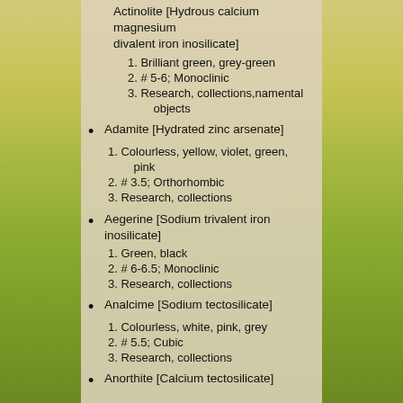Actinolite [Hydrous calcium magnesium divalent iron inosilicate]
1. Brilliant green, grey-green
2. # 5-6; Monoclinic
3. Research, collections, namental objects
Adamite [Hydrated zinc arsenate]
1. Colourless, yellow, violet, green, pink
2. # 3.5; Orthorhombic
3. Research, collections
Aegerine [Sodium trivalent iron inosilicate]
1. Green, black
2. # 6-6.5; Monoclinic
3. Research, collections
Analcime [Sodium tectosilicate]
1. Colourless, white, pink, grey
2. # 5.5; Cubic
3. Research, collections
Anorthite [Calcium tectosilicate]